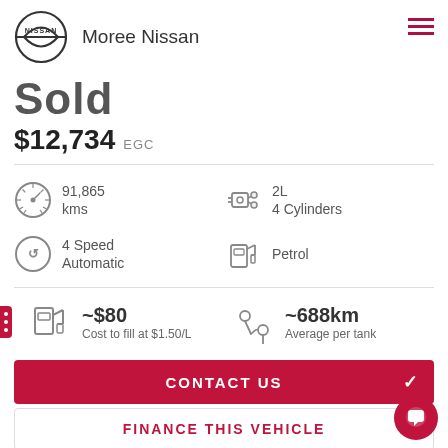[Figure (logo): Nissan logo circle with infinity-style mark]
Moree Nissan
Sold
$12,734 EGC
91,865 kms
2L 4 Cylinders
4 Speed Automatic
Petrol
~$80 Cost to fill at $1.50/L
~688km Average per tank
CONTACT US
FINANCE THIS VEHICLE